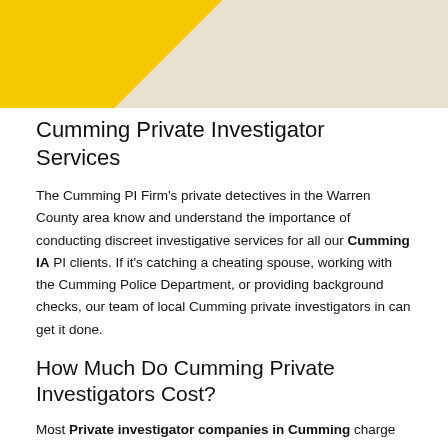[Figure (photo): Partial photo showing yellow and grey/white angular shapes, likely a magnifying glass or investigator-related imagery]
Cumming Private Investigator Services
The Cumming PI Firm's private detectives in the Warren County area know and understand the importance of conducting discreet investigative services for all our Cumming IA PI clients. If it's catching a cheating spouse, working with the Cumming Police Department, or providing background checks, our team of local Cumming private investigators in can get it done.
How Much Do Cumming Private Investigators Cost?
Most Private investigator companies in Cumming charge an hourly rate for their detective services. The cost to hire a private investigator in Warren County varies based on the